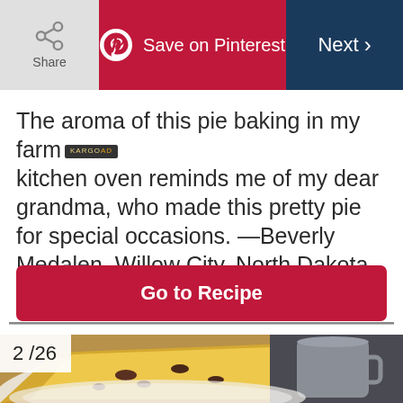Share | Save on Pinterest | Next
The aroma of this pie baking in my farm kitchen oven reminds me of my dear grandma, who made this pretty pie for special occasions. —Beverly Medalen, Willow City, North Dakota
Go to Recipe
[Figure (photo): A slice of custard/chess pie with raisins on a white plate, with a grey mug in the background. Counter shows 2/26.]